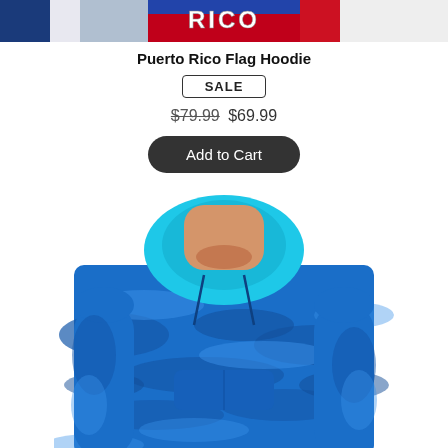[Figure (photo): Cropped top strip showing Puerto Rico Flag Hoodie product thumbnails with red/blue colors and the word RICO visible]
Puerto Rico Flag Hoodie
SALE
$79.99 $69.99
Add to Cart
[Figure (photo): Man wearing a blue camouflage pattern hoodie with teal/blue tones, shown from chest up with hood down]